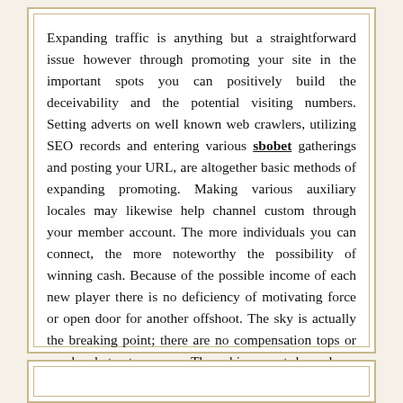Expanding traffic is anything but a straightforward issue however through promoting your site in the important spots you can positively build the deceivability and the potential visiting numbers. Setting adverts on well known web crawlers, utilizing SEO records and entering various sbobet gatherings and posting your URL, are altogether basic methods of expanding promoting. Making various auxiliary locales may likewise help channel custom through your member account. The more individuals you can connect, the more noteworthy the possibility of winning cash. Because of the possible income of each new player there is no deficiency of motivating force or open door for another offshoot. The sky is actually the breaking point; there are no compensation tops or overheads to stress over. The achievement depends on the capacity of the member to speak to themselves and the outside site.